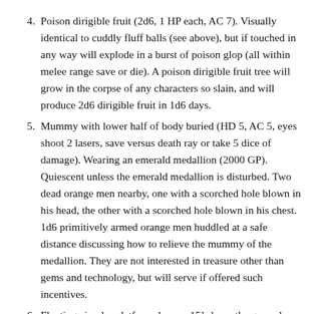4. Poison dirigible fruit (2d6, 1 HP each, AC 7). Visually identical to cuddly fluff balls (see above), but if touched in any way will explode in a burst of poison glop (all within melee range save or die). A poison dirigible fruit tree will grow in the corpse of any characters so slain, and will produce 2d6 dirigible fruit in 1d6 days.
5. Mummy with lower half of body buried (HD 5, AC 5, eyes shoot 2 lasers, save versus death ray or take 5 dice of damage). Wearing an emerald medallion (2000 GP). Quiescent unless the emerald medallion is disturbed. Two dead orange men nearby, one with a scorched hole blown in his head, the other with a scorched hole blown in his chest. 1d6 primitively armed orange men huddled at a safe distance discussing how to relieve the mummy of the medallion. They are not interested in treasure other than gems and technology, but will serve if offered such incentives.
6. Floating circular platform, hovers 15’ above the ground. Space alien technology, 1 in 6 chance to figure out how